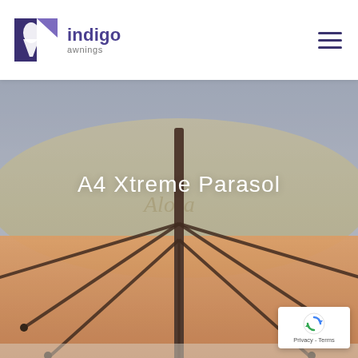indigo awnings
[Figure (photo): Hero banner showing an overhead view of a large branded parasol/umbrella with spokes visible, warm orange/peach tones underneath, with a lighter top showing a script logo. The image fades into a grey-blue at the top.]
A4 Xtreme Parasol
[Figure (logo): Google reCAPTCHA badge with spinning arrow logo and Privacy/Terms links.]